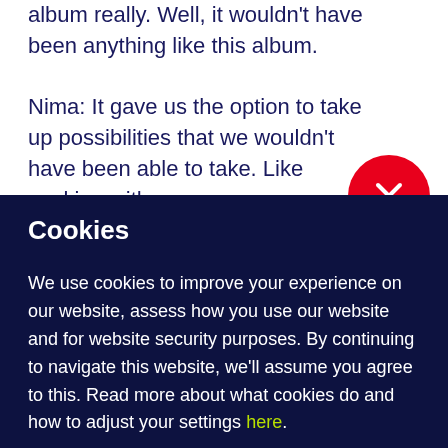album really. Well, it wouldn't have been anything like this album.
Nima: It gave us the option to take up possibilities that we wouldn't have been able to take. Like working with our
[Figure (other): Red circular close button with white X icon]
Cookies
We use cookies to improve your experience on our website, assess how you use our website and for website security purposes. By continuing to navigate this website, we'll assume you agree to this. Read more about what cookies do and how to adjust your settings here.